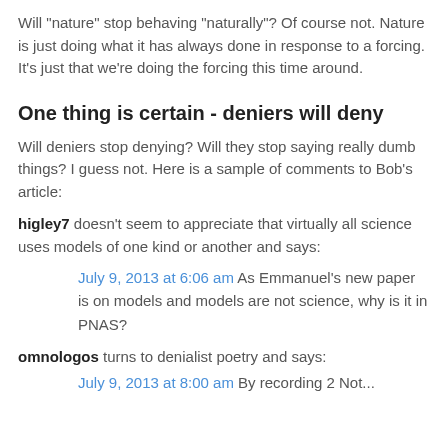Will "nature" stop behaving "naturally"?  Of course not.  Nature is just doing what it has always done in response to a forcing.  It's just that we're doing the forcing this time around.
One thing is certain - deniers will deny
Will deniers stop denying? Will they stop saying really dumb things?  I guess not.  Here is a sample of comments to Bob's article:
higley7 doesn't seem to appreciate that virtually all science uses models of one kind or another and says:
July 9, 2013 at 6:06 am  As Emmanuel’s new paper is on models and models are not science, why is it in PNAS?
omnologos turns to denialist poetry and says:
July 9, 2013 at 8:00 am  By recording 2 Not...